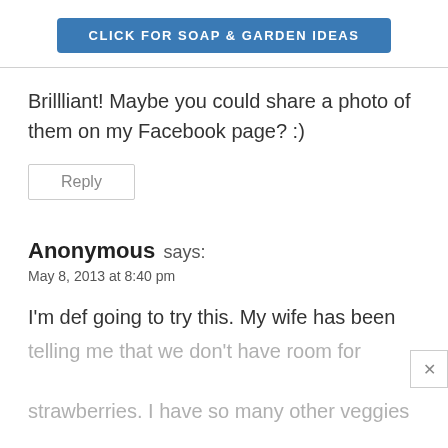[Figure (other): Blue button banner: CLICK FOR SOAP & GARDEN IDEAS]
Brillliant! Maybe you could share a photo of them on my Facebook page? :)
Reply
Anonymous says:
May 8, 2013 at 8:40 pm
I'm def going to try this. My wife has been telling me that we don't have room for strawberries. I have so many other veggies